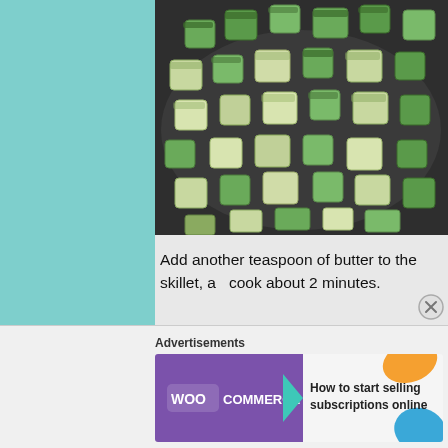[Figure (photo): Photo of diced zucchini cooking in a dark skillet/pan, viewed from above. The zucchini pieces are green and white cubes.]
Add another teaspoon of butter to the skillet, add cook about 2 minutes.
Remove the tomatoes from the skillet and add t the leeks and zucchini.
Advertisements
[Figure (screenshot): WooCommerce advertisement banner. Purple left side with WooCommerce logo and arrow, right side with text: How to start selling subscriptions online, with orange and blue decorative shapes.]